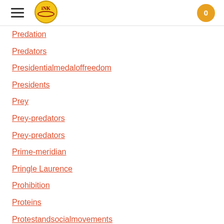INK logo, navigation menu, cart button
Predation
Predators
Presidentialmedaloffreedom
Presidents
Prey
Prey-predators
Prey-predators
Prime-meridian
Pringle Laurence
Prohibition
Proteins
Protestandsocialmovements
Protestants
Protestsongs
Punishment